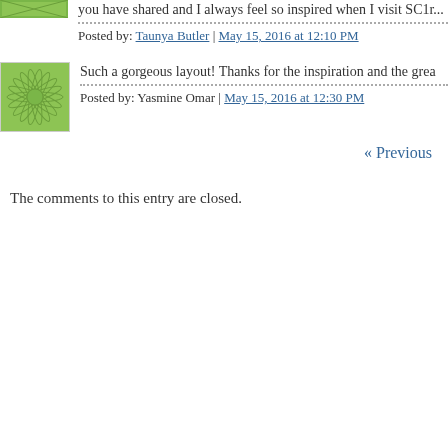you have shared and I always feel so inspired when I visit SC1r...
Posted by: Taunya Butler | May 15, 2016 at 12:10 PM
[Figure (illustration): Green geometric starburst avatar icon]
Such a gorgeous layout! Thanks for the inspiration and the grea...
Posted by: Yasmine Omar | May 15, 2016 at 12:30 PM
« Previous
The comments to this entry are closed.